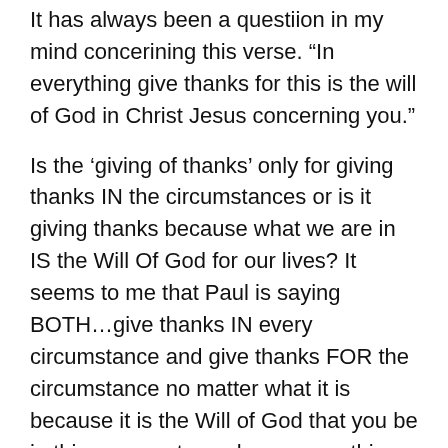It has always been a questiion in my mind concerining this verse. “In everything give thanks for this is the will of God in Christ Jesus concerning you.”
Is the ‘giving of thanks’ only for giving thanks IN the circumstances or is it giving thanks because what we are in IS the Will Of God for our lives? It seems to me that Paul is saying BOTH…give thanks IN every circumstance and give thanks FOR the circumstance no matter what it is because it is the Will of God that you be in this curcumstance beacuse nothing can happen to us except it first pass through the Will of God. That is why we can rest in what Paul said in Rom. 8:28